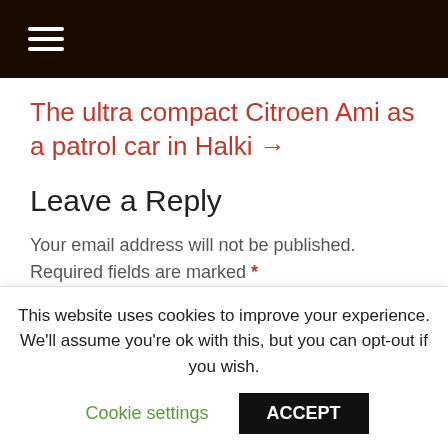The ultra compact Citroen Ami as a patrol car in Halki →
Leave a Reply
Your email address will not be published. Required fields are marked *
Comment *
This website uses cookies to improve your experience. We'll assume you're ok with this, but you can opt-out if you wish.